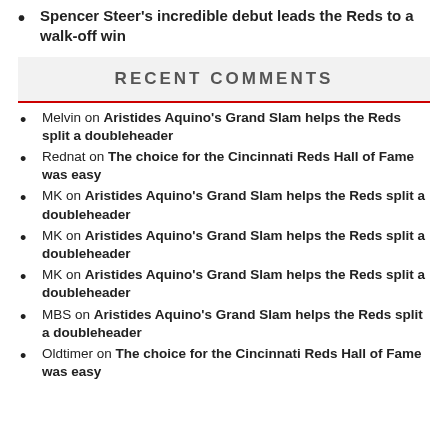Spencer Steer's incredible debut leads the Reds to a walk-off win
RECENT COMMENTS
Melvin on Aristides Aquino's Grand Slam helps the Reds split a doubleheader
Rednat on The choice for the Cincinnati Reds Hall of Fame was easy
MK on Aristides Aquino's Grand Slam helps the Reds split a doubleheader
MK on Aristides Aquino's Grand Slam helps the Reds split a doubleheader
MK on Aristides Aquino's Grand Slam helps the Reds split a doubleheader
MBS on Aristides Aquino's Grand Slam helps the Reds split a doubleheader
Oldtimer on The choice for the Cincinnati Reds Hall of Fame was easy